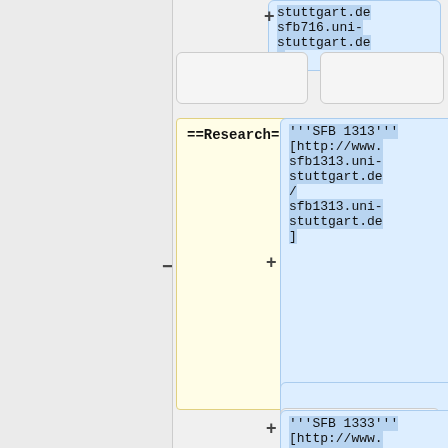stuttgart.de
sfb716.uni-
stuttgart.de
]
[Figure (other): Empty rounded box]
[Figure (other): Empty rounded box]
==Research==
'''SFB 1313'''
[http://www.sfb1313.uni-stuttgart.de/
sfb1313.uni-stuttgart.de
]
[Figure (other): Empty rounded box]
'''SFB 1333'''
[http://www.
src1333.uni-